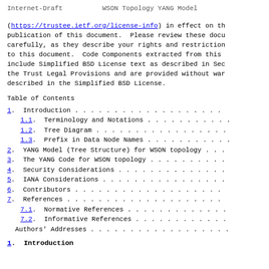Internet-Draft          WSON Topology YANG Model
(https://trustee.ietf.org/license-info) in effect on th publication of this document.  Please review these docu carefully, as they describe your rights and restriction to this document.  Code Components extracted from this include Simplified BSD License text as described in Sec the Trust Legal Provisions and are provided without war described in the Simplified BSD License.
Table of Contents
1.  Introduction . . . . . . . . . . . . . . . . . . .
1.1.  Terminology and Notations . . . . . . . . . . .
1.2.  Tree Diagram . . . . . . . . . . . . . . . . .
1.3.  Prefix in Data Node Names . . . . . . . . . . .
2.  YANG Model (Tree Structure) for WSON topology . . .
3.  The YANG Code for WSON topology . . . . . . . . . .
4.  Security Considerations . . . . . . . . . . . . . .
5.  IANA Considerations . . . . . . . . . . . . . . . .
6.  Contributors . . . . . . . . . . . . . . . . . . .
7.  References . . . . . . . . . . . . . . . . . . . .
7.1.  Normative References . . . . . . . . . . . . .
7.2.  Informative References . . . . . . . . . . . .
Authors' Addresses . . . . . . . . . . . . . . . . . .
1.  Introduction